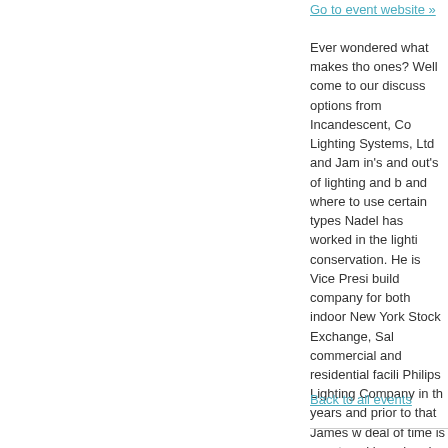Go to event website »
Ever wondered what makes those ones? Well come to our discussion options from Incandescent, Compact Lighting Systems, Ltd and James in's and out's of lighting and be and where to use certain types of Nadel has worked in the lighting conservation. He is Vice President build company for both indoor and New York Stock Exchange, Salvage commercial and residential facilities Philips Lighting Company in the years and prior to that James worked deal of time is spent working with and the latest trends in the lighting James works with national distributors commercial segments. RSVP: workshops@bignyc.org
Back to all events